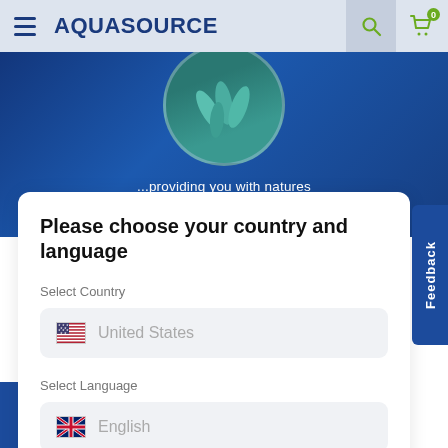AquaSource
[Figure (screenshot): Hero banner with circular product image showing capsules/tablets on blue background]
...providing you with natures ultimate food supplement
Please choose your country and language
Select Country
United States
Select Language
English